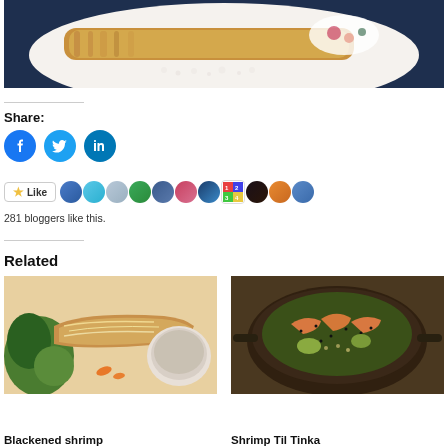[Figure (photo): Close-up photo of a breaded/crusted food dish on a dark plate with garnishes and white crumbles]
Share:
[Figure (other): Social share buttons: Facebook, Twitter, LinkedIn, and a Like button with 281 bloggers avatars]
281 bloggers like this.
Related
[Figure (photo): Photo of a Blackened shrimp dish with salad and dipping sauce]
[Figure (photo): Photo of a Shrimp Til Tinka dish in a pan]
Blackened shrimp
Shrimp Til Tinka